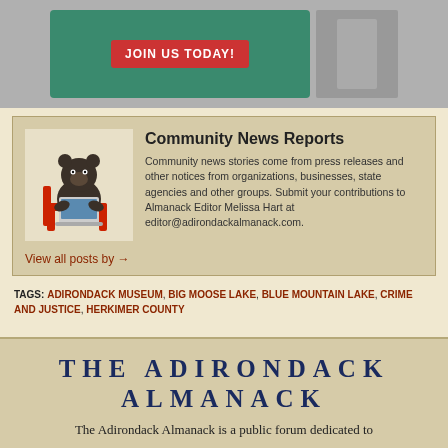[Figure (photo): Top banner with green background showing a red 'JOIN US TODAY!' button on the left and a person in costume on the right]
[Figure (illustration): Illustration of a bear sitting in a red chair using a laptop computer]
Community News Reports
Community news stories come from press releases and other notices from organizations, businesses, state agencies and other groups. Submit your contributions to Almanack Editor Melissa Hart at editor@adirondackalmanack.com.
View all posts by →
TAGS: ADIRONDACK MUSEUM, BIG MOOSE LAKE, BLUE MOUNTAIN LAKE, CRIME AND JUSTICE, HERKIMER COUNTY
Comments are closed.
THE ADIRONDACK ALMANACK
The Adirondack Almanack is a public forum dedicated to